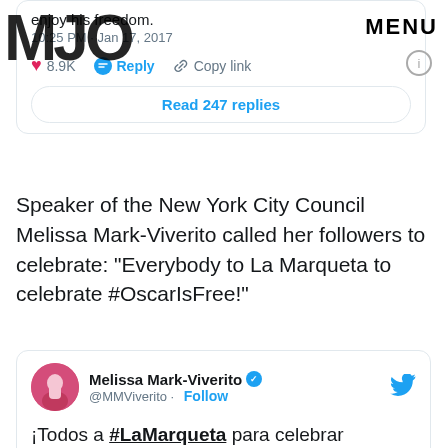[Figure (screenshot): Top portion of a tweet card showing text 'enjoy his freedom.', timestamp '10:25 PM · Jan 17, 2017', like count '8.9K', Reply and Copy link buttons, and a 'Read 247 replies' button. MJO logo overlay and MENU label visible.]
Speaker of the New York City Council Melissa Mark-Viverito called her followers to celebrate: "Everybody to La Marqueta to celebrate #OscarIsFree!"
[Figure (screenshot): Tweet card from Melissa Mark-Viverito (@MMViverito) with Follow button, Twitter bird logo, and tweet text: '¡Todos a #LaMarqueta para celebrar #OscarEsLibre !']